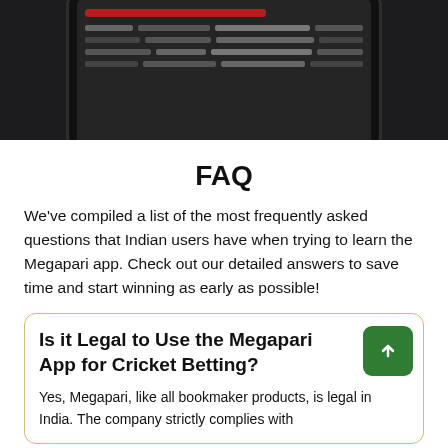[Figure (screenshot): Partial screenshot of a mobile phone showing a dark-themed sports betting app interface with a red header bar and grey table rows]
FAQ
We've compiled a list of the most frequently asked questions that Indian users have when trying to learn the Megapari app. Check out our detailed answers to save time and start winning as early as possible!
Is it Legal to Use the Megapari App for Cricket Betting?
Yes, Megapari, like all bookmaker products, is legal in India. The company strictly complies with